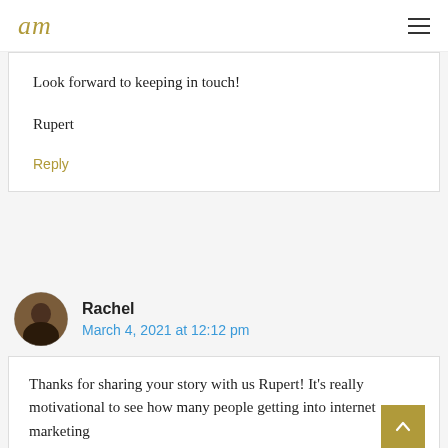am  ☰
Look forward to keeping in touch!
Rupert
Reply
Rachel
March 4, 2021 at 12:12 pm
Thanks for sharing your story with us Rupert! It's really motivational to see how many people getting into internet marketing